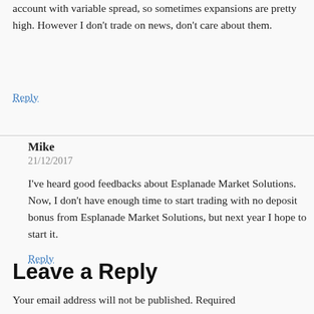account with variable spread, so sometimes expansions are pretty high. However I don't trade on news, don't care about them.
Reply
Mike
21/12/2017
I've heard good feedbacks about Esplanade Market Solutions. Now, I don't have enough time to start trading with no deposit bonus from Esplanade Market Solutions, but next year I hope to start it.
Reply
Leave a Reply
Your email address will not be published. Required